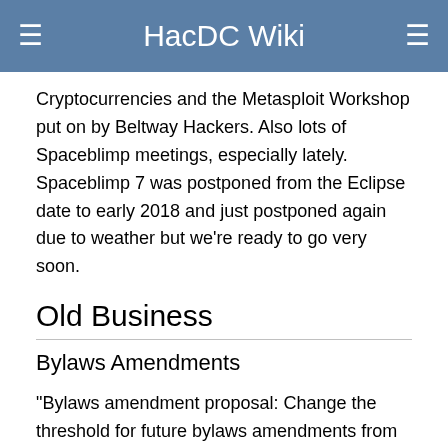HacDC Wiki
Cryptocurrencies and the Metasploit Workshop put on by Beltway Hackers. Also lots of Spaceblimp meetings, especially lately. Spaceblimp 7 was postponed from the Eclipse date to early 2018 and just postponed again due to weather but we're ready to go very soon.
Old Business
Bylaws Amendments
"Bylaws amendment proposal: Change the threshold for future bylaws amendments from "more than three quarters (3/4ths) of voting members," to "more than three quarters (3/4ths) of member votes cast 90 days from the proposal approval date," and from "Notice of such petition must be submitted electronically to all members," to "Notice of such a petition must be submitted to all members electronically